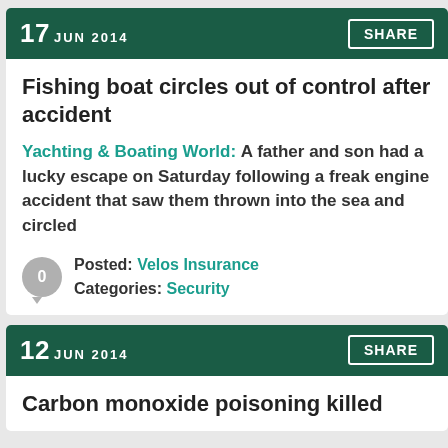17 JUN 2014
Fishing boat circles out of control after accident
Yachting & Boating World: A father and son had a lucky escape on Saturday following a freak engine accident that saw them thrown into the sea and circled
Posted: Velos Insurance Categories: Security
12 JUN 2014
Carbon monoxide poisoning killed